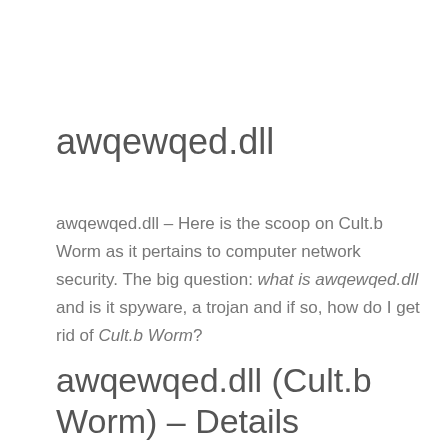awqewqed.dll
awqewqed.dll – Here is the scoop on Cult.b Worm as it pertains to computer network security. The big question: what is awqewqed.dll and is it spyware, a trojan and if so, how do I get rid of Cult.b Worm?
awqewqed.dll (Cult.b Worm) – Details